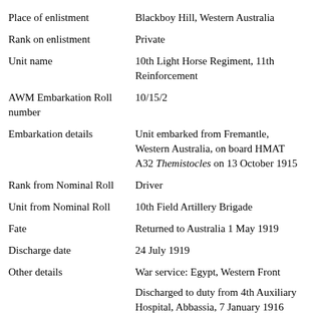| Field | Value |
| --- | --- |
| Place of enlistment | Blackboy Hill, Western Australia |
| Rank on enlistment | Private |
| Unit name | 10th Light Horse Regiment, 11th Reinforcement |
| AWM Embarkation Roll number | 10/15/2 |
| Embarkation details | Unit embarked from Fremantle, Western Australia, on board HMAT A32 Themistocles on 13 October 1915 |
| Rank from Nominal Roll | Driver |
| Unit from Nominal Roll | 10th Field Artillery Brigade |
| Fate | Returned to Australia 1 May 1919 |
| Discharge date | 24 July 1919 |
| Other details | War service: Egypt, Western Front

Discharged to duty from 4th Auxiliary Hospital, Abbassia, 7 January 1916 (mumps). Taken on strength, 3rd Reserve Regiment, Heliopolis, 6 March 1916.

Found guilty, 18 March 1916, of leaving parade without permission; awarded 14... |